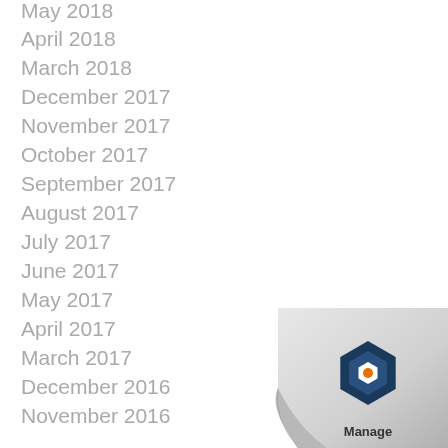May 2018
April 2018
March 2018
December 2017
November 2017
October 2017
September 2017
August 2017
July 2017
June 2017
May 2017
April 2017
March 2017
December 2016
November 2016
[Figure (logo): Manage Engine logo with page curl effect in bottom right corner]